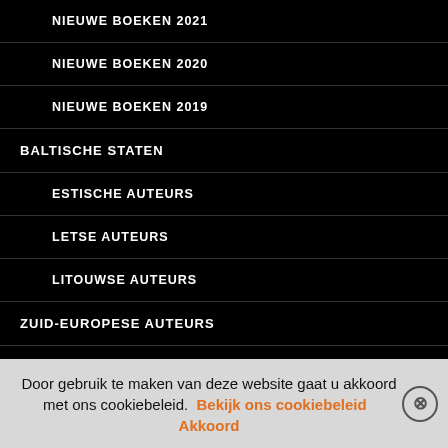NIEUWE BOEKEN 2021
NIEUWE BOEKEN 2020
NIEUWE BOEKEN 2019
BALTISCHE STATEN
ESTISCHE AUTEURS
LETSE AUTEURS
LITOUWSE AUTEURS
ZUID-EUROPESE AUTEURS
ALBANESE AUTEURS
GRIEKSE AUTEURS
ITALIAANSE THRILLERS
Door gebruik te maken van deze website gaat u akkoord met ons cookiebeleid. Bekijk ons cookiebeleid  Akkoord